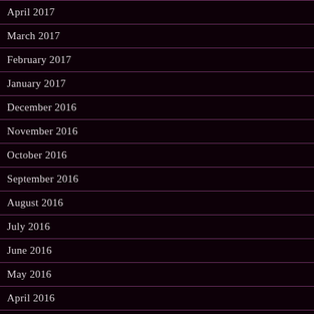April 2017
March 2017
February 2017
January 2017
December 2016
November 2016
October 2016
September 2016
August 2016
July 2016
June 2016
May 2016
April 2016